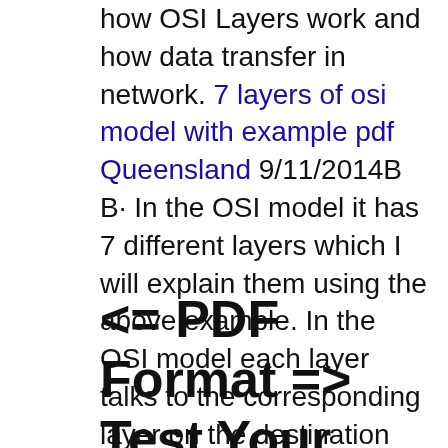how OSI Layers work and how data transfer in network. 7 layers of osi model with example pdf Queensland 9/11/2014B B· In the OSI model it has 7 different layers which I will explain them using the above example. In the OSI model each layer talks to the corresponding layer on the destination node, this is because each layer appends control information to the data from the layer above and the layer on the node that reads it.
<= PDF Format => Test Your Chess Iq Grandmaster Challenge